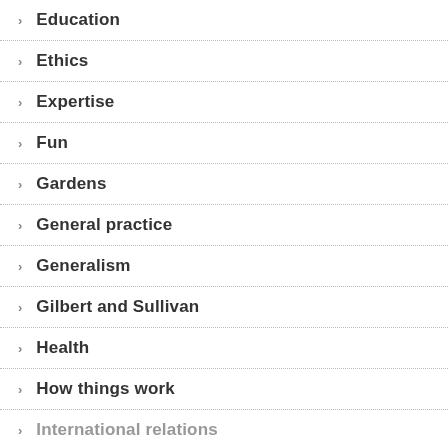Education
Ethics
Expertise
Fun
Gardens
General practice
Generalism
Gilbert and Sullivan
Health
How things work
International relations